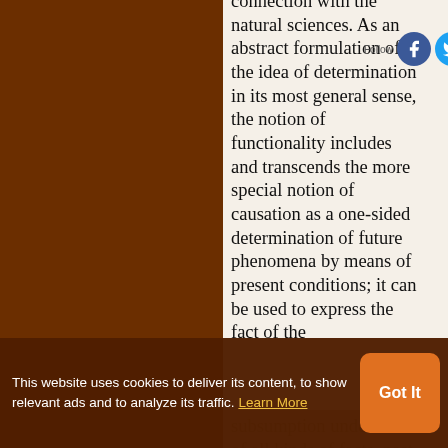connection with the natural sciences. As an abstract formulation of the idea of determination in its most general sense, the notion of functionality includes and transcends the more special notion of causation as a one-sided determination of future phenomena by means of present conditions; it can be used to express the fact of the subsumption under a law of all kinds of facts, past, present and future alike. From this general scope of phenomena. From this
This website uses cookies to deliver its content, to show relevant ads and to analyze its traffic. Learn More